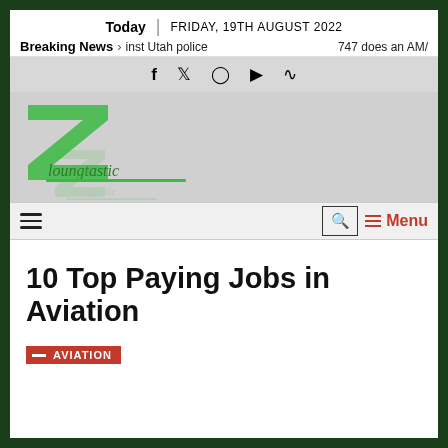Today | FRIDAY, 19TH AUGUST 2022
Breaking News > inst Utah police   747 does an AM/
[Figure (logo): Loungtastic website logo with green angular Z-shaped mark and script text]
Menu
10 Top Paying Jobs in Aviation
AVIATION